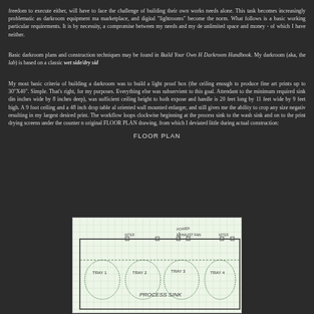freedom to execute either, will have to face the challenge of building their own works needs alone. This task becomes increasingly problematic as darkroom equipment ma marketplace, and digital "lightrooms" become the norm. What follows is a basic working particular requirements. It is by necessity, a compromise between my needs and my de unlimited space and money - of which I have neither.
Basic darkroom plans and construction techniques may be found in Build Your Own H Darkroom Handbook. My darkroom (aka, the lab) is based on a classic wet side/dry sid
My most basic criteria of building a darkroom was to build a light proof box (the ceiling enough to produce fine art prints up to 30"X40". Simple. That's right, for my purposes. Everything else was subservient to this goal. Attendant to the minimum required sink din inches wide by 8 inches deep), was sufficient ceiling height to both expose and handle is 20 feet long by 11 feet wide by 9 feet high. A 9 foot ceiling and a 48 inch drop table al oriented wall mounted enlarger, and still gives me the ability to crop any size negativ resulting in my largest desired print. The workflow loops clockwise beginning at the process sink to the wash sink and on to the print drying screens under the counter n original FLOOR PLAN drawing, from which I deviated little during actual construction:
FLOOR PLAN
[Figure (schematic): Hand-drawn floor plan of darkroom on graph paper, showing process sink with trays (TRAY 1, TRAY 2, TRAY 3, TRAY 4), PROCESS SINK label, power and exhaust fan labels at top, drawn in pencil/green ink on light green grid paper]